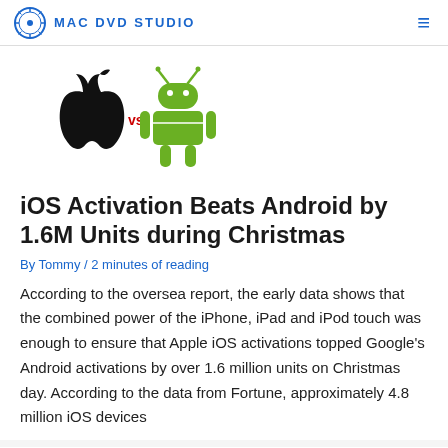MAC DVD STUDIO
[Figure (illustration): Apple logo (black) vs Android robot logo (green) side by side with red 'vs' text between them]
iOS Activation Beats Android by 1.6M Units during Christmas
By Tommy / 2 minutes of reading
According to the oversea report, the early data shows that the combined power of the iPhone, iPad and iPod touch was enough to ensure that Apple iOS activations topped Google's Android activations by over 1.6 million units on Christmas day. According to the data from Fortune, approximately 4.8 million iOS devices